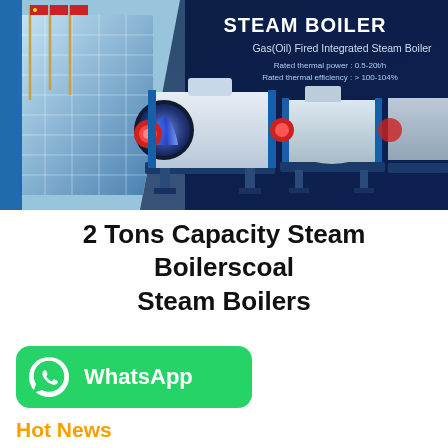[Figure (photo): Banner showing steam boilers (Gas/Oil Fired Integrated Steam Boilers) with a building on the left and three boiler units on a dark navy background. Text overlay reads STEAM BOILER, Gas(Oil) Fired Integrated Steam Boiler, Rated thermal power: 0.5-20t/h, Rated thermal efficiency: > 100-104%]
2 Tons Capacity Steam Boilerscoal Steam Boilers
[Figure (logo): WhatsApp button in green with WhatsApp icon and text]
Hot News